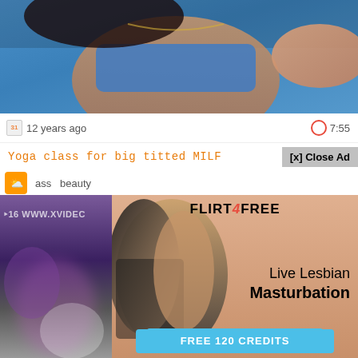[Figure (screenshot): Video thumbnail showing woman in blue sports bra on yoga mat]
12 years ago
7:55
Yoga class for big titted MILF
[x] Close Ad
ass  beauty
[Figure (screenshot): Blurry small video thumbnail with XVIDEOS watermark]
[Figure (advertisement): Flirt4Free advertisement with Live Lesbian Masturbation text and FREE 120 CREDITS button]